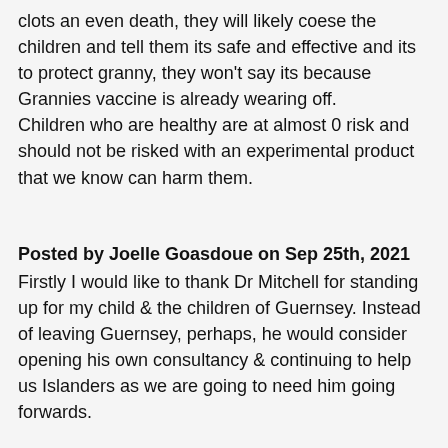clots an even death, they will likely coese the children and tell them its safe and effective and its to protect granny, they won't say its because Grannies vaccine is already wearing off.
Children who are healthy are at almost 0 risk and should not be risked with an experimental product that we know can harm them.
Posted by Joelle Goasdoue on Sep 25th, 2021
Firstly I would like to thank Dr Mitchell for standing up for my child & the children of Guernsey. Instead of leaving Guernsey, perhaps, he would consider opening his own consultancy & continuing to help us Islanders as we are going to need him going forwards.
I am Guernsey born & bred & I was always proud of my heritage. Not anymore. I am absolutely discussed that the CCA are still in power & even more disgusted that they Dr Brink are not taking into account health vs risks re experimental jab & the adverse effects this so called jab has had not only on adults, but children worldwide. There have been a number of studies carried out globally noting